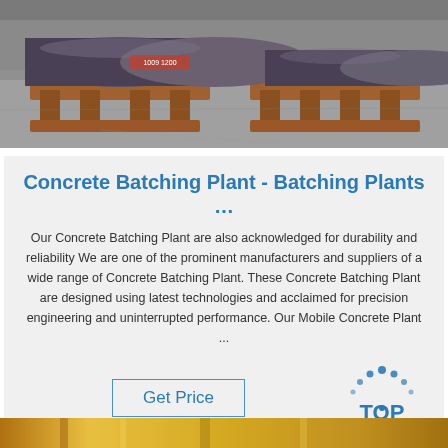[Figure (photo): Warehouse photo showing large cylindrical metal rods/pipes stacked on wooden pallets on a concrete floor]
Concrete Batching Plant - Batching Plants …
Our Concrete Batching Plant are also acknowledged for durability and reliability We are one of the prominent manufacturers and suppliers of a wide range of Concrete Batching Plant. These Concrete Batching Plant are designed using latest technologies and acclaimed for precision engineering and uninterrupted performance. Our Mobile Concrete Plant ...
[Figure (logo): TOP logo with blue dots arranged in arc above the text TOP in blue letters]
[Figure (photo): Bottom partial photo showing yellow industrial equipment]